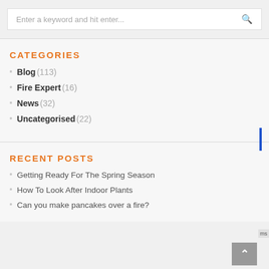Enter a keyword and hit enter...
CATEGORIES
Blog (113)
Fire Expert (16)
News (32)
Uncategorised (22)
RECENT POSTS
Getting Ready For The Spring Season
How To Look After Indoor Plants
Can you make pancakes over a fire?